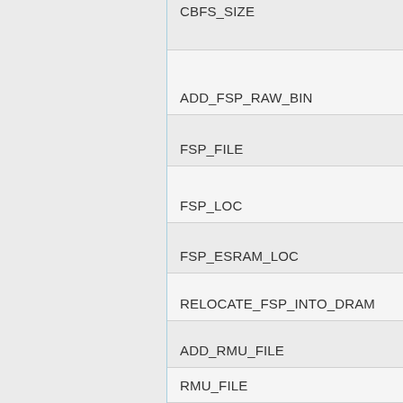CBFS_SIZE
ADD_FSP_RAW_BIN
FSP_FILE
FSP_LOC
FSP_ESRAM_LOC
RELOCATE_FSP_INTO_DRAM
ADD_RMU_FILE
RMU_FILE